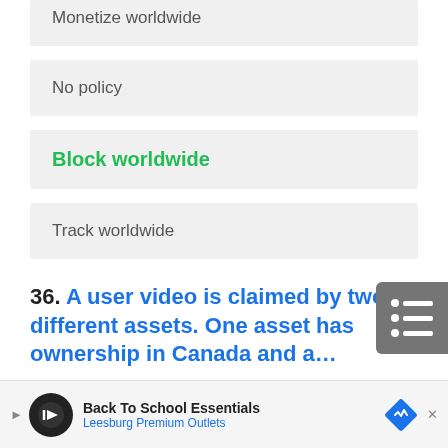Monetize Worldwide
No policy
Block worldwide
Track worldwide
36. A user video is claimed by two different assets. One asset has ownership in Canada and a…
[Figure (screenshot): Advertisement bar: Back To School Essentials - Leesburg Premium Outlets]
[Figure (other): Floating menu/list button icon on right side]